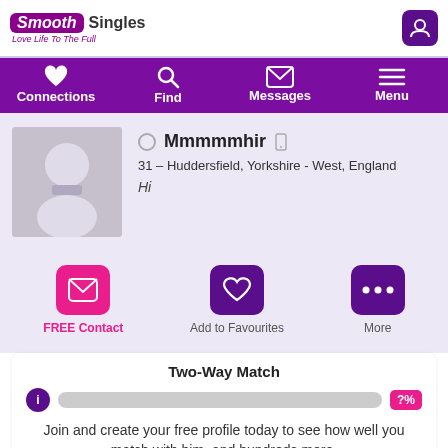Smooth Singles — Love Life To The Full
[Figure (screenshot): Navigation bar with Connections, Find, Messages, Menu]
[Figure (photo): Default grey avatar silhouette for user Mmmmmhir]
Mmmmmhir
31 – Huddersfield, Yorkshire - West, England
Hi
FREE Contact
Add to Favourites
More
Two-Way Match
Join and create your free profile today to see how well you match with him, and hundreds more.
Join now
Online: More than 6 months ago